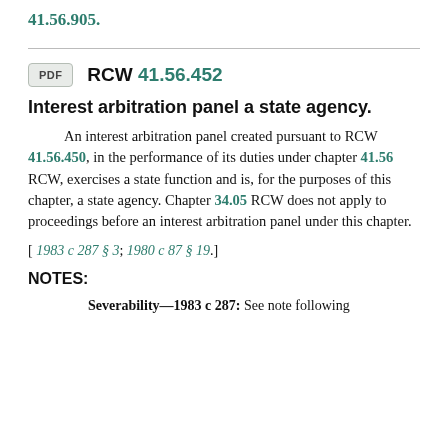41.56.905.
RCW 41.56.452
Interest arbitration panel a state agency.
An interest arbitration panel created pursuant to RCW 41.56.450, in the performance of its duties under chapter 41.56 RCW, exercises a state function and is, for the purposes of this chapter, a state agency. Chapter 34.05 RCW does not apply to proceedings before an interest arbitration panel under this chapter.
[ 1983 c 287 § 3; 1980 c 87 § 19.]
NOTES:
Severability—1983 c 287: See note following